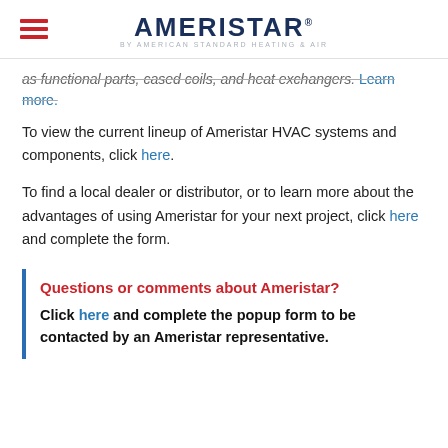AMERISTAR BY AMERICAN STANDARD HEATING & AIR
as functional parts, cased coils, and heat exchangers. Learn more.
To view the current lineup of Ameristar HVAC systems and components, click here.
To find a local dealer or distributor, or to learn more about the advantages of using Ameristar for your next project, click here and complete the form.
Questions or comments about Ameristar?
Click here and complete the popup form to be contacted by an Ameristar representative.